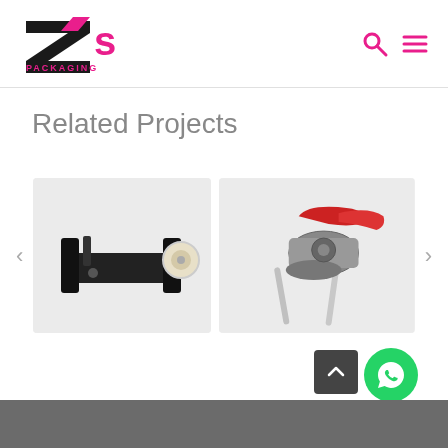Z's Packaging - logo and navigation
Related Projects
[Figure (photo): Packaging tape dispenser tool - black device with white roller wheel on light grey background]
[Figure (photo): Red and silver strapping tensioner / sealer tool on light grey background]